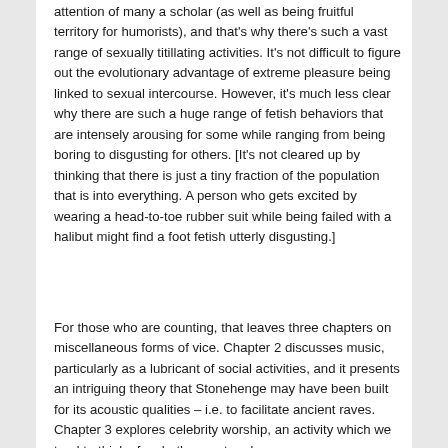attention of many a scholar (as well as being fruitful territory for humorists), and that's why there's such a vast range of sexually titillating activities. It's not difficult to figure out the evolutionary advantage of extreme pleasure being linked to sexual intercourse. However, it's much less clear why there are such a huge range of fetish behaviors that are intensely arousing for some while ranging from being boring to disgusting for others. [It's not cleared up by thinking that there is just a tiny fraction of the population that is into everything. A person who gets excited by wearing a head-to-toe rubber suit while being failed with a halibut might find a foot fetish utterly disgusting.]
For those who are counting, that leaves three chapters on miscellaneous forms of vice. Chapter 2 discusses music, particularly as a lubricant of social activities, and it presents an intriguing theory that Stonehenge may have been built for its acoustic qualities – i.e. to facilitate ancient raves. Chapter 3 explores celebrity worship, an activity which we tend to think of as both recent and as